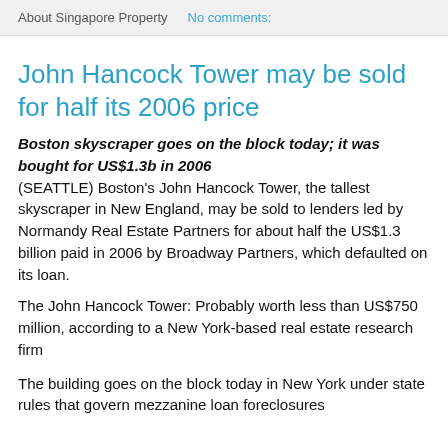About Singapore Property   No comments:
John Hancock Tower may be sold for half its 2006 price
Boston skyscraper goes on the block today; it was bought for US$1.3b in 2006
(SEATTLE) Boston's John Hancock Tower, the tallest skyscraper in New England, may be sold to lenders led by Normandy Real Estate Partners for about half the US$1.3 billion paid in 2006 by Broadway Partners, which defaulted on its loan.
The John Hancock Tower: Probably worth less than US$750 million, according to a New York-based real estate research firm
The building goes on the block today in New York under state rules that govern mezzanine loan foreclosures